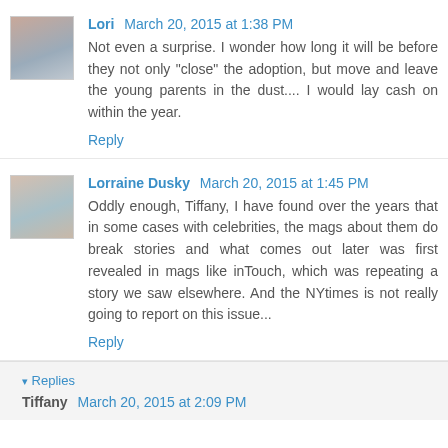Lori March 20, 2015 at 1:38 PM
Not even a surprise. I wonder how long it will be before they not only "close" the adoption, but move and leave the young parents in the dust.... I would lay cash on within the year.
Reply
Lorraine Dusky March 20, 2015 at 1:45 PM
Oddly enough, Tiffany, I have found over the years that in some cases with celebrities, the mags about them do break stories and what comes out later was first revealed in mags like inTouch, which was repeating a story we saw elsewhere. And the NYtimes is not really going to report on this issue...
Reply
Replies
Tiffany March 20, 2015 at 2:09 PM